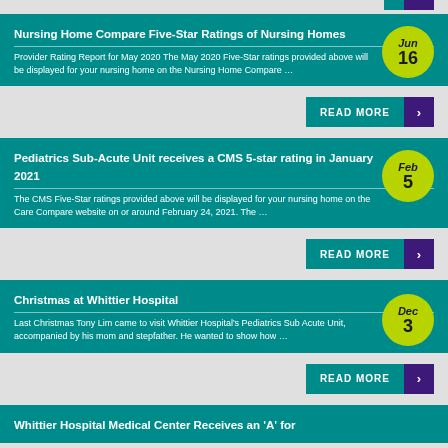Nursing Home Compare Five-Star Ratings of Nursing Homes
Provider Rating Report for May 2020 The May 2020 Five-Star ratings provided above will be displayed for your nursing home on the Nursing Home Compare …
READ MORE
Pediatrics Sub-Acute Unit receives a CMS 5-star rating in January 2021
The CMS Five-Star ratings provided above will be displayed for your nursing home on the Care Compare website on or around February 24, 2021. The …
READ MORE
Christmas at Whittier Hospital
Last Christmas Tony Lim came to visit Whittier Hospital's Pediatrics Sub Acute Unit, accompanied by his mom and stepfather. He wanted to show how …
READ MORE
Whittier Hospital Medical Center Receives an 'A' for